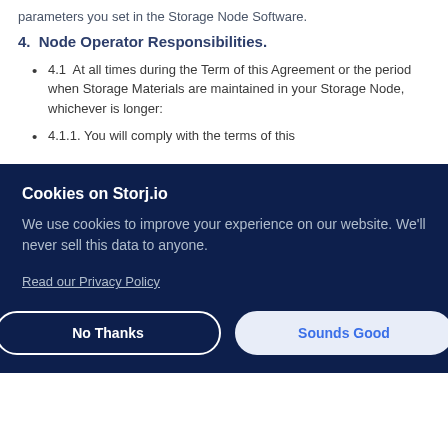parameters you set in the Storage Node Software.
4.  Node Operator Responsibilities.
4.1  At all times during the Term of this Agreement or the period when Storage Materials are maintained in your Storage Node, whichever is longer:
4.1.1. You will comply with the terms of this
Cookies on Storj.io
We use cookies to improve your experience on our website. We'll never sell this data to anyone.
Read our Privacy Policy
No Thanks
Sounds Good